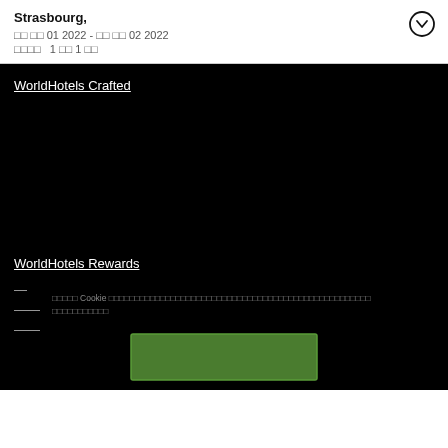Strasbourg,
■■ ■■ 01 2022 - ■■ ■■ 02 2022
■■■■  1 ■■ 1 ■■
WorldHotels Crafted
WorldHotels Rewards
—
——
——
■■■■■ Cookie ■■■■■■■■■■■■■■■■■■■■■■■■■■■■■■■■■■■■■■■■■■■■■■■ ■■■■■■■■■■■
[Figure (other): Green accept/confirm button for cookie consent]